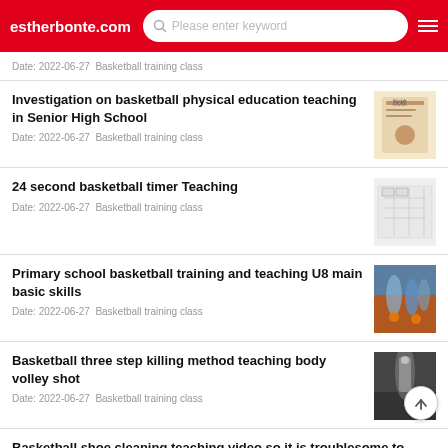estherbonte.com  Please enter keyword
Date: 2022-06-27  Basketball training class
Investigation on basketball physical education teaching in Senior High School
Date: 2022-06-27  Basketball training class
24 second basketball timer Teaching
Date: 2022-06-27  Basketball training class
Primary school basketball training and teaching U8 main basic skills
Date: 2022-06-27  Basketball training class
Basketball three step killing method teaching body volley shot
Date: 2022-06-27  Basketball training class
Basketball shoe cleaning teaching video so it is troublesome to clean by yourself
Date: 2022-06-27  Basketball training class